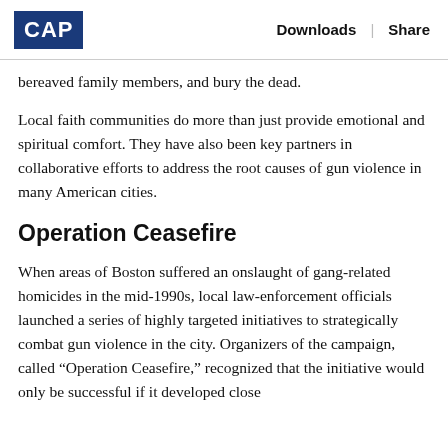CAP | Downloads | Share
bereaved family members, and bury the dead.
Local faith communities do more than just provide emotional and spiritual comfort. They have also been key partners in collaborative efforts to address the root causes of gun violence in many American cities.
Operation Ceasefire
When areas of Boston suffered an onslaught of gang-related homicides in the mid-1990s, local law-enforcement officials launched a series of highly targeted initiatives to strategically combat gun violence in the city. Organizers of the campaign, called “Operation Ceasefire,” recognized that the initiative would only be successful if it developed close